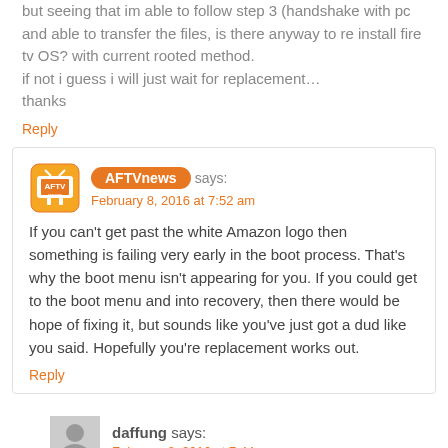but seeing that im able to follow step 3 (handshake with pc and able to transfer the files, is there anyway to re install fire tv OS? with current rooted method.
if not i guess i will just wait for replacement…
thanks
Reply
AFTVnews says:
February 8, 2016 at 7:52 am
If you can't get past the white Amazon logo then something is failing very early in the boot process. That's why the boot menu isn't appearing for you. If you could get to the boot menu and into recovery, then there would be hope of fixing it, but sounds like you've just got a dud like you said. Hopefully you're replacement works out.
Reply
daffung says:
February 8, 2016 at 7:44 pm
so i thought it wouldn't get pass the frozen "white